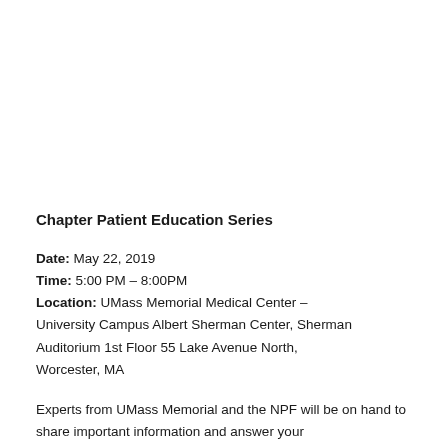Chapter Patient Education Series
Date: May 22, 2019
Time: 5:00 PM – 8:00PM
Location: UMass Memorial Medical Center – University Campus Albert Sherman Center, Sherman Auditorium 1st Floor 55 Lake Avenue North, Worcester, MA
Experts from UMass Memorial and the NPF will be on hand to share important information and answer your